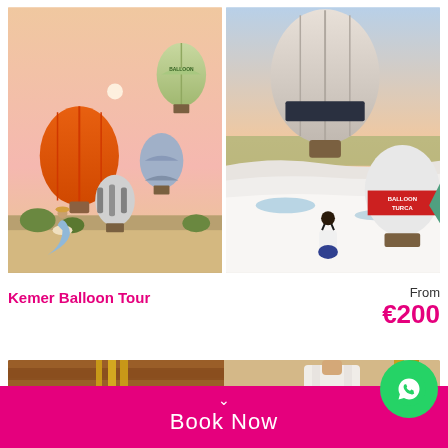[Figure (photo): Two hot air balloon photos side by side. Left: multiple colorful hot air balloons (orange, green-white, blue-grey, striped) floating over a landscape at sunset with a woman in a blue dress. Right: large balloon in foreground with a red-white 'Balloon Turca' balloon over white travertine terraces at Pamukkale, woman in blue swimwear sitting on terraces.]
Kemer Balloon Tour
From €200
[Figure (photo): Partial bottom preview strip showing interior of a wooden sauna or cabin on the left and a person in white clothing on the right.]
Book Now